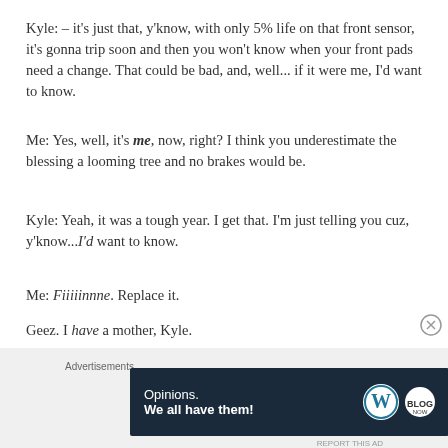Kyle: – it's just that, y'know, with only 5% life on that front sensor, it's gonna trip soon and then you won't know when your front pads need a change. That could be bad, and, well... if it were me, I'd want to know.
Me: Yes, well, it's me, now, right? I think you underestimate the blessing a looming tree and no brakes would be.
Kyle: Yeah, it was a tough year. I get that. I'm just telling you cuz, y'know...I'd want to know.
Me: Fiiiiinnne. Replace it.
Geez. I have a mother, Kyle.
Kyle: Great. We'll get that done for you.
Advertisements — Opinions. We all have them!